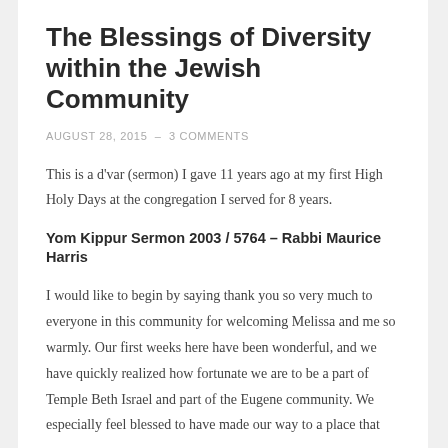The Blessings of Diversity within the Jewish Community
AUGUST 28, 2015  –  3 COMMENTS
This is a d'var (sermon) I gave 11 years ago at my first High Holy Days at the congregation I served for 8 years.
Yom Kippur Sermon 2003 / 5764 – Rabbi Maurice Harris
I would like to begin by saying thank you so very much to everyone in this community for welcoming Melissa and me so warmly. Our first weeks here have been wonderful, and we have quickly realized how fortunate we are to be a part of Temple Beth Israel and part of the Eugene community. We especially feel blessed to have made our way to a place that